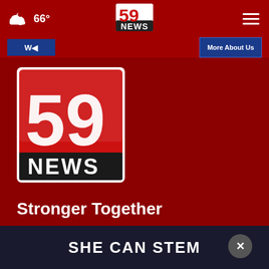66° | 59 NEWS header navigation
[Figure (logo): 59 NEWS logo - large, red and black with white text, square format]
Stronger Together
Follow Us
[Figure (logo): Facebook circle icon]
[Figure (screenshot): SHE CAN STEM advertisement banner, dark background with white bold text]